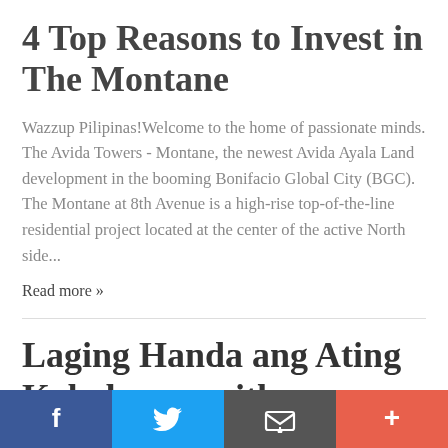4 Top Reasons to Invest in The Montane
Wazzup Pilipinas!Welcome to the home of passionate minds. The Avida Towers - Montane, the newest Avida Ayala Land development in the booming Bonifacio Global City (BGC).  The Montane at 8th Avenue is a high-rise top-of-the-line residential project located at the center of the active North side...
Read more »
Laging Handa ang Ating Kababayan with KaKAMPi Mi...